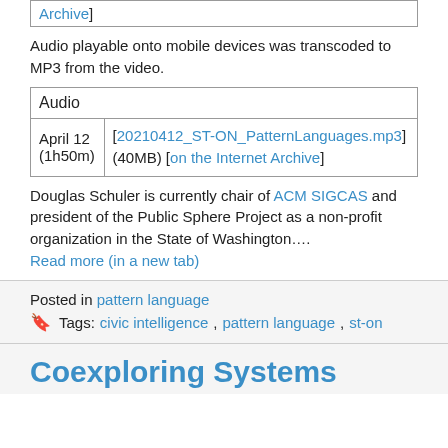| Archive] |
| --- |
Audio playable onto mobile devices was transcoded to MP3 from the video.
| Audio |
| --- |
| April 12 (1h50m) | [20210412_ST-ON_PatternLanguages.mp3] (40MB) [on the Internet Archive] |
Douglas Schuler is currently chair of ACM SIGCAS and president of the Public Sphere Project as a non-profit organization in the State of Washington…. Read more (in a new tab)
Posted in pattern language
Tags: civic intelligence, pattern language, st-on
Coexploring Systems